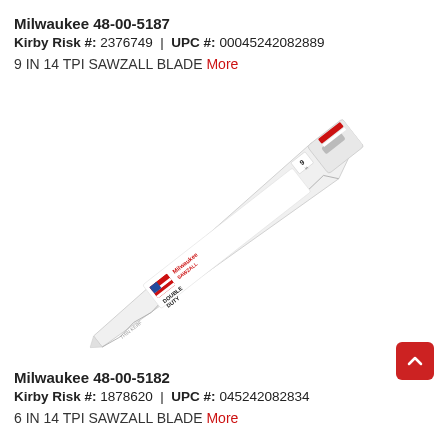Milwaukee 48-00-5187
Kirby Risk #: 2376749  |  UPC #: 00045242082889
9 IN 14 TPI SAWZALL BLADE More
[Figure (photo): Milwaukee SAWZALL reciprocating saw blade, 9 inch, angled diagonally, showing Double Duty label with American flag and Milwaukee branding in red, white, and blue]
Milwaukee 48-00-5182
Kirby Risk #: 1878620  |  UPC #: 045242082834
6 IN 14 TPI SAWZALL BLADE More